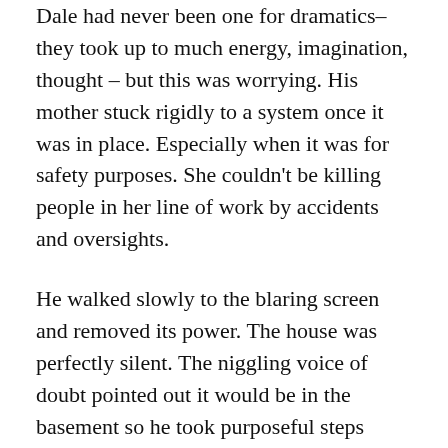Dale had never been one for dramatics– they took up to much energy, imagination, thought – but this was worrying. His mother stuck rigidly to a system once it was in place. Especially when it was for safety purposes. She couldn't be killing people in her line of work by accidents and oversights.
He walked slowly to the blaring screen and removed its power. The house was perfectly silent. The niggling voice of doubt pointed out it would be in the basement so he took purposeful steps toward the upstairs entry. The stairs creaked as they absorbed his weight; the door to the main corridor gave a warning groan.
On the other side there was still nothing but silence. Had the client left, his mother would be running hot water for a shower or bath. Had the paying pervert stayed the crack of